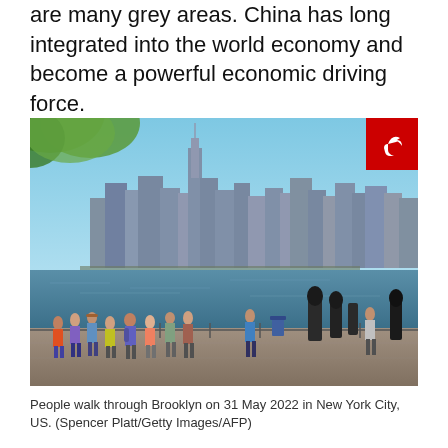are many grey areas. China has long integrated into the world economy and become a powerful economic driving force.
[Figure (photo): People standing on a waterfront promenade in Brooklyn looking at the Manhattan skyline across the East River on a sunny day, with green foliage visible in the upper left corner. A red share button is overlaid in the upper right of the image.]
People walk through Brooklyn on 31 May 2022 in New York City, US. (Spencer Platt/Getty Images/AFP)